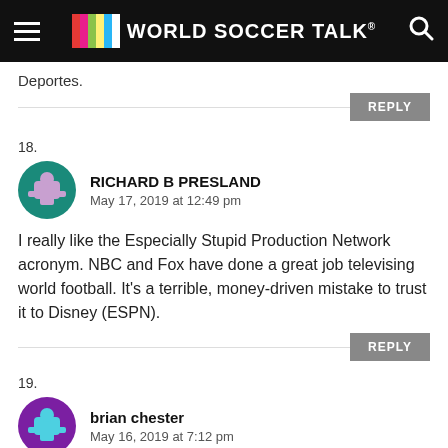World Soccer Talk
Deportes.
REPLY
18. RICHARD B PRESLAND
May 17, 2019 at 12:49 pm

I really like the Especially Stupid Production Network acronym. NBC and Fox have done a great job televising world football. It’s a terrible, money-driven mistake to trust it to Disney (ESPN).
REPLY
19. brian chester
May 16, 2019 at 7:12 pm

i have att tv with dir.tv what sta. can i get the fa